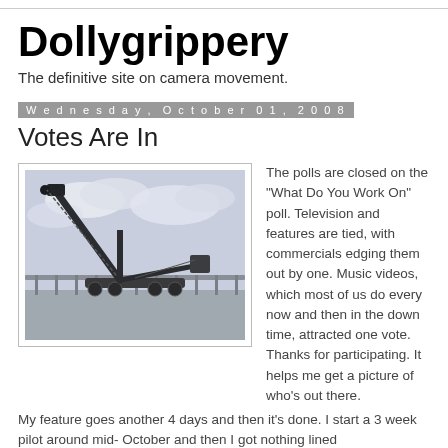Dollygrippery
The definitive site on camera movement.
Wednesday, October 01, 2008
Votes Are In
[Figure (photo): A camera crane/dolly on a film set against a cloudy sky, positioned on a rooftop or elevated surface with a railing visible in the background.]
The polls are closed on the "What Do You Work On" poll. Television and features are tied, with commercials edging them out by one. Music videos, which most of us do every now and then in the down time, attracted one vote. Thanks for participating. It helps me get a picture of who's out there.
My feature goes another 4 days and then it's done. I start a 3 week pilot around mid- October and then I got nothing lined